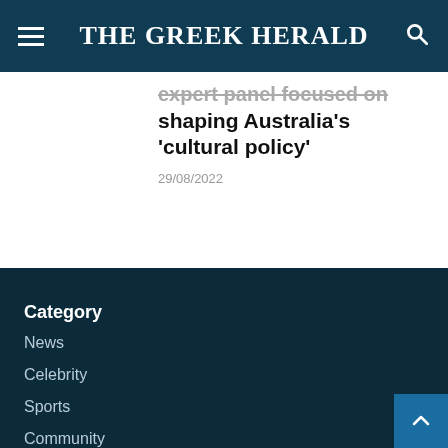THE GREEK HERALD
expert panel focused on shaping Australia's 'cultural policy'
29/08/2022
Category
News
Celebrity
Sports
Community
Lifestyle